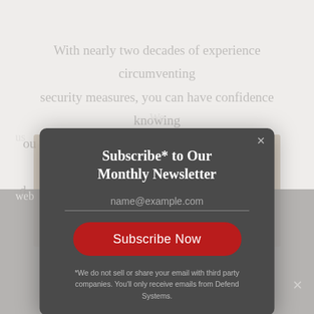With nearly two decades of experience circumventing security measures, you can have confidence knowing ou… to d… e.
[Figure (screenshot): Background photo of a conference or event venue with people seated]
Subscribe* to Our Monthly Newsletter
name@example.com
Subscribe Now
*We do not sell or share your email with third party companies. You'll only receive emails from Defend Systems.
We us… nce on our web… hat you are happy with it.
OK